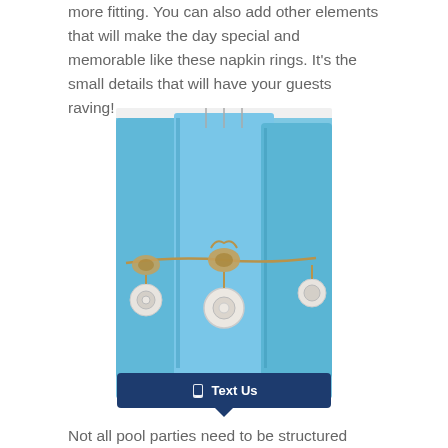more fitting. You can also add other elements that will make the day special and memorable like these napkin rings. It's the small details that will have your guests raving!
[Figure (photo): Blue napkins folded and tied with twine, each with a white shell ring/pendant as a napkin ring, arranged in a row against a white background.]
Not all pool parties need to be structured